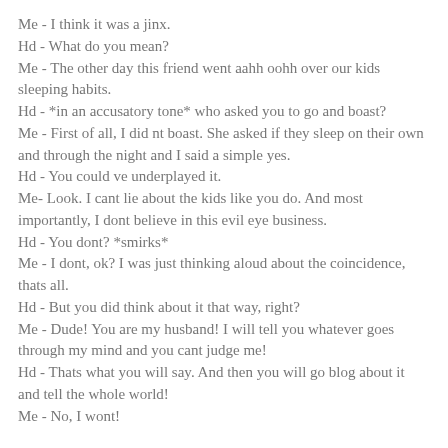Me - I think it was a jinx.
Hd - What do you mean?
Me - The other day this friend went aahh oohh over our kids sleeping habits.
Hd - *in an accusatory tone* who asked you to go and boast?
Me - First of all, I did nt boast. She asked if they sleep on their own and through the night and I said a simple yes.
Hd - You could ve underplayed it.
Me- Look. I cant lie about the kids like you do. And most importantly, I dont believe in this evil eye business.
Hd - You dont? *smirks*
Me - I dont, ok? I was just thinking aloud about the coincidence, thats all.
Hd - But you did think about it that way, right?
Me - Dude! You are my husband! I will tell you whatever goes through my mind and you cant judge me!
Hd - Thats what you will say. And then you will go blog about it and tell the whole world!
Me - No, I wont!
Oops.